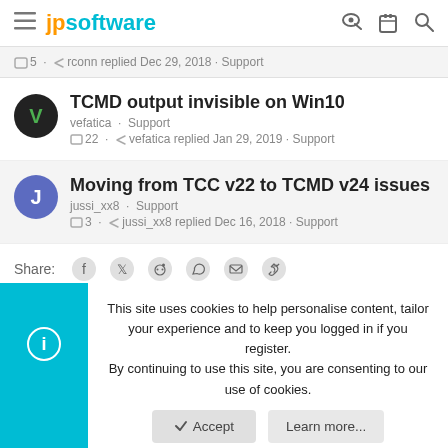jpsoftware
5 · rconn replied Dec 29, 2018 · Support
TCMD output invisible on Win10
vefatica · Support
22 · vefatica replied Jan 29, 2019 · Support
Moving from TCC v22 to TCMD v24 issues
jussi_xx8 · Support
3 · jussi_xx8 replied Dec 16, 2018 · Support
Share:
This site uses cookies to help personalise content, tailor your experience and to keep you logged in if you register.
By continuing to use this site, you are consenting to our use of cookies.